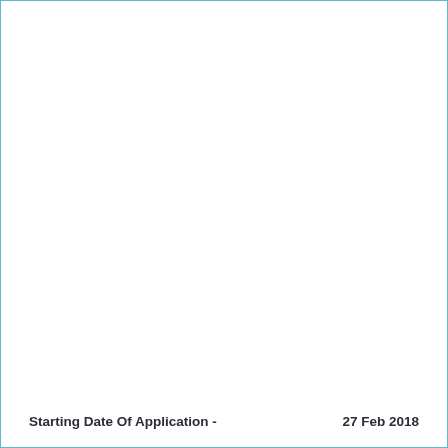Starting Date Of Application -   27 Feb 2018